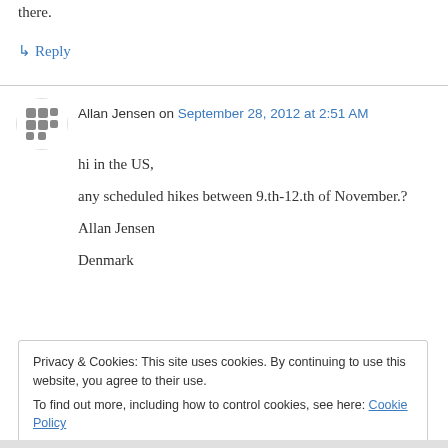there.
↳ Reply
Allan Jensen on September 28, 2012 at 2:51 AM
hi in the US,
any scheduled hikes between 9.th-12.th of November.?
Allan Jensen
Denmark
Privacy & Cookies: This site uses cookies. By continuing to use this website, you agree to their use.
To find out more, including how to control cookies, see here: Cookie Policy